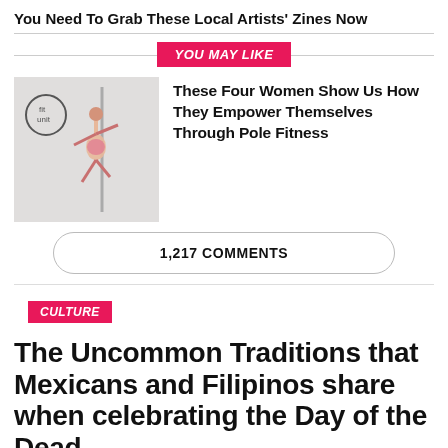You Need To Grab These Local Artists' Zines Now
YOU MAY LIKE
[Figure (photo): A woman performing pole fitness, hanging upside down on a pole in a dance studio]
These Four Women Show Us How They Empower Themselves Through Pole Fitness
1,217 COMMENTS
CULTURE
The Uncommon Traditions that Mexicans and Filipinos share when celebrating the Day of the Dead.